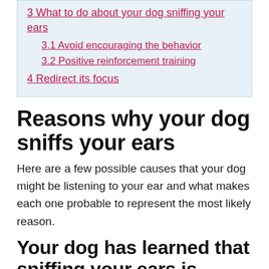3 What to do about your dog sniffing your ears
3.1 Avoid encouraging the behavior
3.2 Positive reinforcement training
4 Redirect its focus
Reasons why your dog sniffs your ears
Here are a few possible causes that your dog might be listening to your ear and what makes each one probable to represent the most likely reason.
Your dog has learned that sniffing your ears is